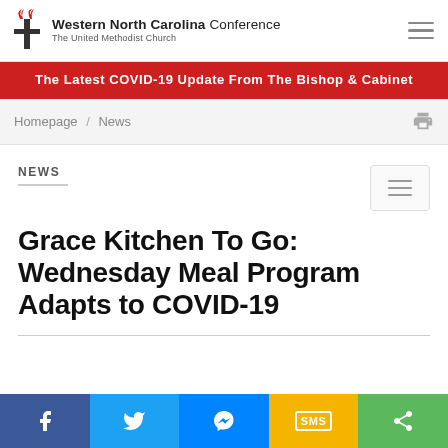Western North Carolina Conference — The United Methodist Church
The Latest COVID-19 Update From The Bishop & Cabinet
Homepage / News
NEWS
Grace Kitchen To Go: Wednesday Meal Program Adapts to COVID-19